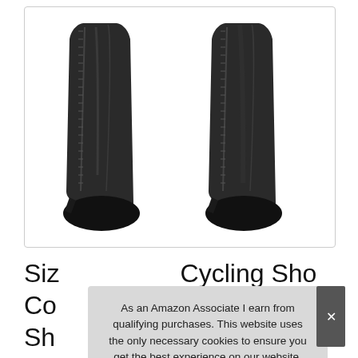[Figure (photo): Two black rain boot covers/shoe covers shown from the back, with zippers running up the back of each cover, against a white background.]
Siz      Cycling Shoe Co      Sh      Riding Shoe Cover Rainproof Shoe
As an Amazon Associate I earn from qualifying purchases. This website uses the only necessary cookies to ensure you get the best experience on our website. More information